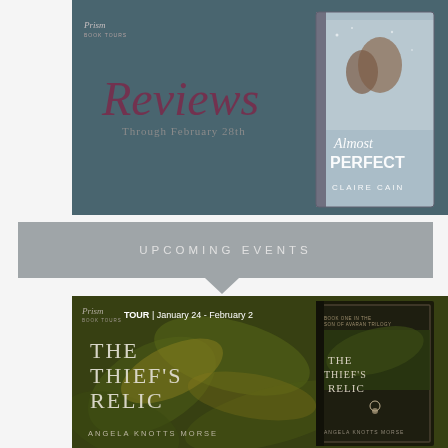[Figure (illustration): Review banner for 'Almost Perfect' by Claire Cain, Prism Book Tours. Teal/gray background with cursive 'Reviews' text and 'Through February 28th' subtitle. Book cover shown on right with couple in snow.]
UPCOMING EVENTS
[Figure (illustration): Tour banner for 'The Thief's Relic' by Angela Knotts Morse. TOUR | January 24 - February 2. Dark green/gold leafy background with book cover on right (Son of Avaran Trilogy, Book One).]